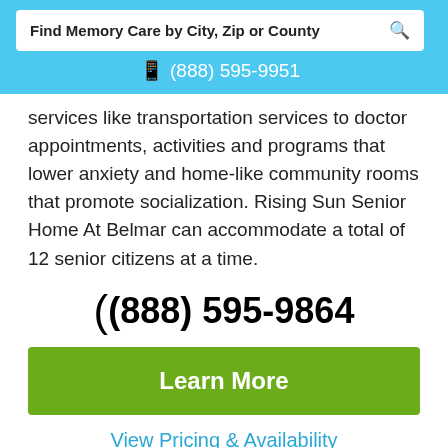Find Memory Care by City, Zip or County
(888) 595-9951
services like transportation services to doctor appointments, activities and programs that lower anxiety and home-like community rooms that promote socialization. Rising Sun Senior Home At Belmar can accommodate a total of 12 senior citizens at a time.
(888) 595-9864
Learn More
View Pricing & Availability